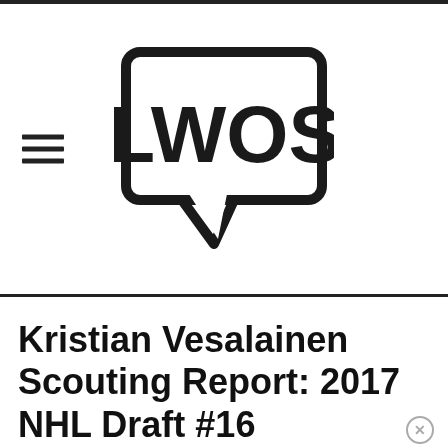[Figure (logo): LWOS logo — speech bubble containing bold text LWOS, with hamburger menu icon to the left]
Kristian Vesalainen Scouting Report: 2017 NHL Draft #16
[Figure (infographic): Social sharing bar with Facebook, Twitter, Reddit, WhatsApp, and Share buttons]